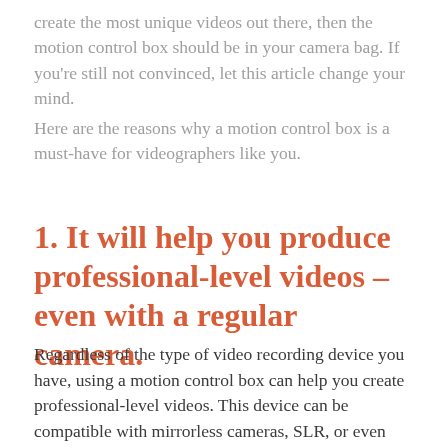create the most unique videos out there, then the motion control box should be in your camera bag. If you're still not convinced, let this article change your mind.
Here are the reasons why a motion control box is a must-have for videographers like you.
1. It will help you produce professional-level videos – even with a regular camera.
Regardless of the type of video recording device you have, using a motion control box can help you create professional-level videos. This device can be compatible with mirrorless cameras, SLR, or even your smartphone, allowing you to produce a wide variety of projects at a